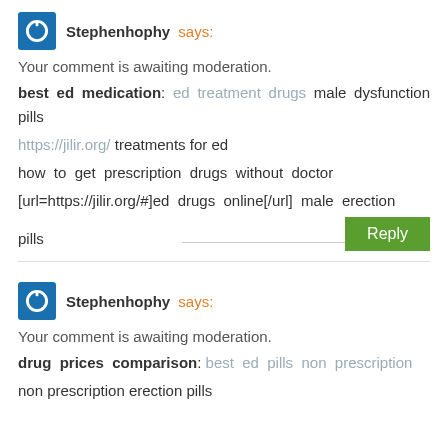Stephenhophy says:
Your comment is awaiting moderation.
best ed medication: ed treatment drugs male dysfunction pills
https://jilir.org/ treatments for ed
how to get prescription drugs without doctor [url=https://jilir.org/#]ed drugs online[/url] male erection pills
Stephenhophy says:
Your comment is awaiting moderation.
drug prices comparison: best ed pills non prescription non prescription erection pills